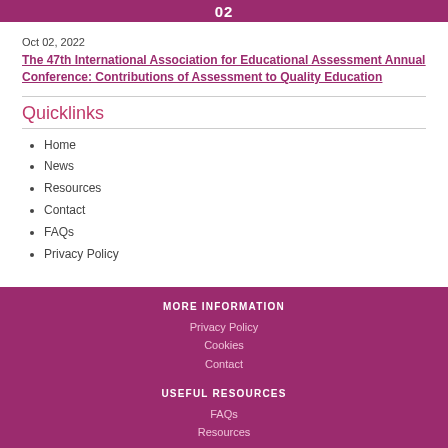02
Oct 02, 2022
The 47th International Association for Educational Assessment Annual Conference: Contributions of Assessment to Quality Education
Quicklinks
Home
News
Resources
Contact
FAQs
Privacy Policy
MORE INFORMATION
Privacy Policy
Cookies
Contact
USEFUL RESOURCES
FAQs
Resources